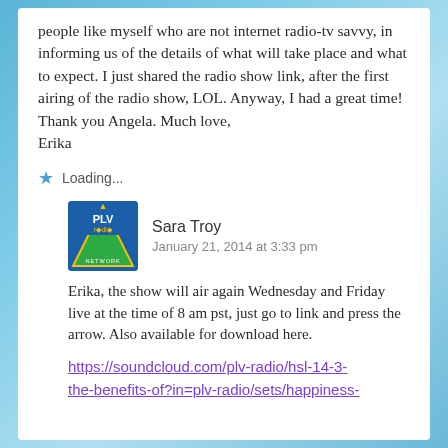people like myself who are not internet radio-tv savvy, in informing us of the details of what will take place and what to expect. I just shared the radio show link, after the first airing of the radio show, LOL. Anyway, I had a great time! Thank you Angela. Much love,
Erika
Loading...
[Figure (logo): PLV Radio Network logo - triangle shape with radio text]
Sara Troy
January 21, 2014 at 3:33 pm
Erika, the show will air again Wednesday and Friday live at the time of 8 am pst, just go to link and press the arrow. Also available for download here.
https://soundcloud.com/plv-radio/hsl-14-3-the-benefits-of?in=plv-radio/sets/happiness-